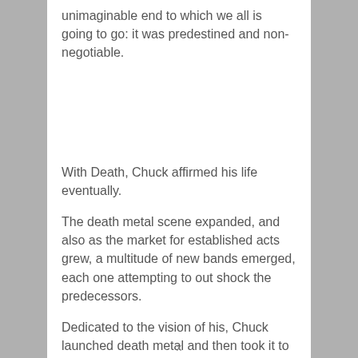unimaginable end to which we all is going to go: it was predestined and non-negotiable.
With Death, Chuck affirmed his life eventually.
The death metal scene expanded, and also as the market for established acts grew, a multitude of new bands emerged, each one attempting to out shock the predecessors.
Dedicated to the vision of his, Chuck launched death metal and then took it to brand new heights, although, it wasn't without costs.
x